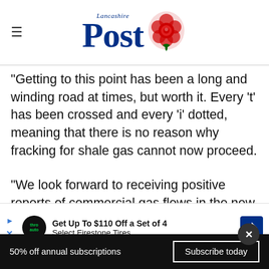[Figure (logo): Lancashire Post newspaper logo with red rose emblem and blue text]
"Getting to this point has been a long and winding road at times, but worth it. Every 't' has been crossed and every 'i' dotted, meaning that there is no reason why fracking for shale gas cannot now proceed.
"We look forward to receiving positive reports of commercial gas flows in the new year. In the mean... Lancastrian businesses about the supply chai...
[Figure (screenshot): Advertisement banner: Get Up To $110 Off a Set of 4 Select Firestone Tires, with Thro Auto logo and directional road sign icon]
50% off annual subscriptions
Subscribe today